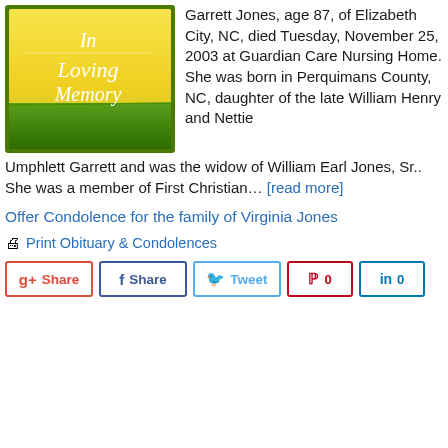[Figure (illustration): In Loving Memory decorative image with yellow-to-green gradient background, green grass at bottom, and italic script text reading 'In Loving Memory']
Garrett Jones, age 87, of Elizabeth City, NC, died Tuesday, November 25, 2003 at Guardian Care Nursing Home. She was born in Perquimans County, NC, daughter of the late William Henry and Nettie Umphlett Garrett and was the widow of William Earl Jones, Sr.. She was a member of First Christian... [read more]
Offer Condolence for the family of Virginia Jones
Print Obituary & Condolences
Share  Share  Tweet  0  0